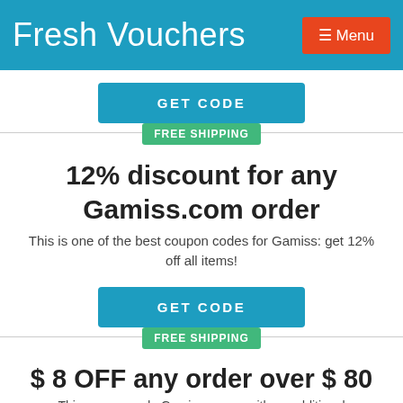Fresh Vouchers  ☰ Menu
GET CODE
FREE SHIPPING
12% discount for any Gamiss.com order
This is one of the best coupon codes for Gamiss: get 12% off all items!
GET CODE
FREE SHIPPING
$ 8 OFF any order over $ 80
This coupon code Gamiss comes with an additional...